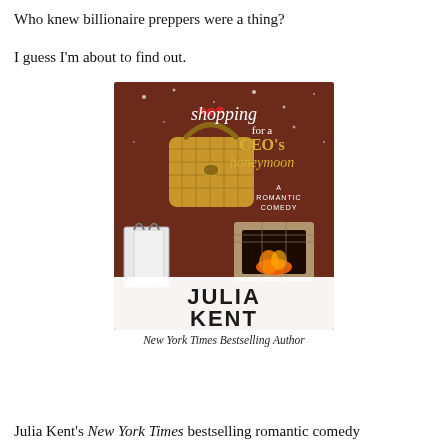Who knew billionaire preppers were a thing?
I guess I'm about to find out.
[Figure (illustration): Book cover for 'Shopping for a CEO's Honeymoon: A Romantic Comedy' by Julia Kent, New York Times Bestselling Author. Cover shows a gold quilted handbag held by a woman's hand, shopping bags, and a stone fireplace on a warm brown background with snow.]
New York Times Bestselling Author
Julia Kent's New York Times bestselling romantic comedy